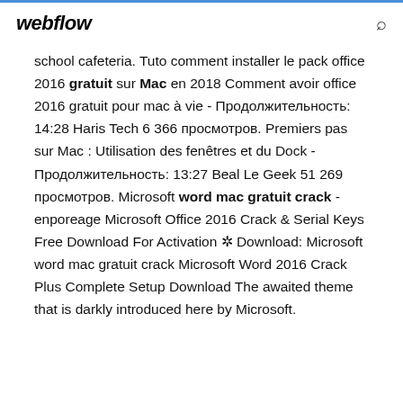webflow
school cafeteria. Tuto comment installer le pack office 2016 gratuit sur Mac en 2018 Comment avoir office 2016 gratuit pour mac à vie - Продолжительность: 14:28 Haris Tech 6 366 просмотров. Premiers pas sur Mac : Utilisation des fenêtres et du Dock - Продолжительность: 13:27 Beal Le Geek 51 269 просмотров. Microsoft word mac gratuit crack - enporeage Microsoft Office 2016 Crack & Serial Keys Free Download For Activation ✲ Download: Microsoft word mac gratuit crack Microsoft Word 2016 Crack Plus Complete Setup Download The awaited theme that is darkly introduced here by Microsoft.